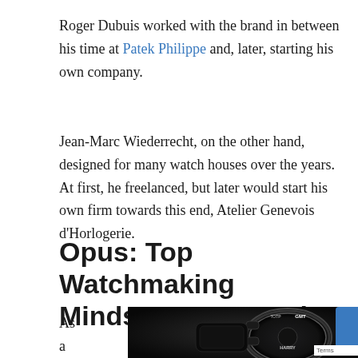Roger Dubuis worked with the brand in between his time at Patek Philippe and, later, starting his own company.
Jean-Marc Wiederrecht, on the other hand, designed for many watch houses over the years. At first, he freelanced, but later would start his own firm towards this end, Atelier Genevois d’Horlogerie.
Opus: Top Watchmaking Minds Come Together
As a
[Figure (photo): Close-up photo of a luxury watch face on a dark background, showing the watch bezel with text including 'GMT' and 'HARRY' visible on the dial.]